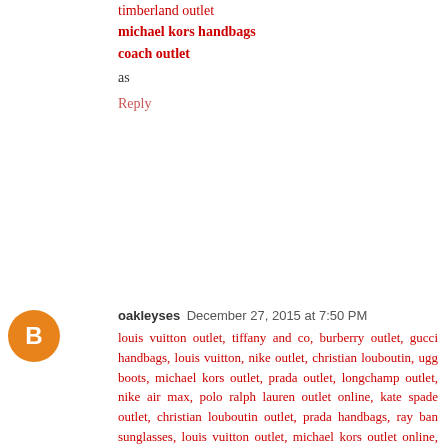timberland outlet
michael kors handbags
coach outlet
as
Reply
oakleyses  December 27, 2015 at 7:50 PM
louis vuitton outlet, tiffany and co, burberry outlet, gucci handbags, louis vuitton, nike outlet, christian louboutin, ugg boots, michael kors outlet, prada outlet, longchamp outlet, nike air max, polo ralph lauren outlet online, kate spade outlet, christian louboutin outlet, prada handbags, ray ban sunglasses, louis vuitton outlet, michael kors outlet online, longchamp outlet, burberry handbags, tory burch outlet, christian louboutin shoes, replica watches, cheap oakley sunglasses, michael kors outlet online, tiffany jewelry, longchamp outlet, michael kors outlet online, uggs outlet, michael kors outlet online, oakley sunglasses wholesale, polo outlet, jordan shoes, ray ban sunglasses, uggs outlet, oakley sunglasses, louis vuitton outlet, oakley sunglasses, replica watches, uggs on sale, oakley sunglasses, chanel